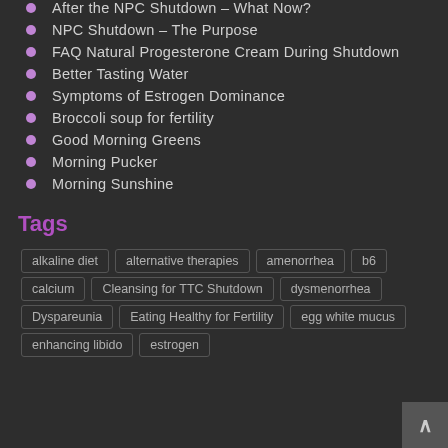After the NPC Shutdown – What Now?
NPC Shutdown – The Purpose
FAQ Natural Progesterone Cream During Shutdown
Better Tasting Water
Symptoms of Estrogen Dominance
Broccoli soup for fertility
Good Morning Greens
Morning Pucker
Morning Sunshine
Tags
alkaline diet  alternative therapies  amenorrhea  b6  calcium  Cleansing for TTC Shutdown  dysmenorrhea  Dyspareunia  Eating Healthy for Fertility  egg white mucus  enhancing libido  estrogen